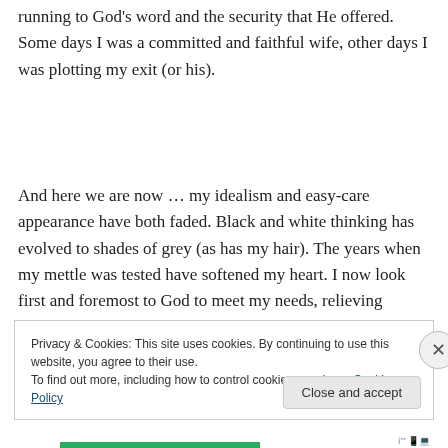running to God's word and the security that He offered. Some days I was a committed and faithful wife, other days I was plotting my exit (or his).
And here we are now … my idealism and easy-care appearance have both faded. Black and white thinking has evolved to shades of grey (as has my hair). The years when my mettle was tested have softened my heart. I now look first and foremost to God to meet my needs, relieving
Privacy & Cookies: This site uses cookies. By continuing to use this website, you agree to their use.
To find out more, including how to control cookies, see here: Cookie Policy